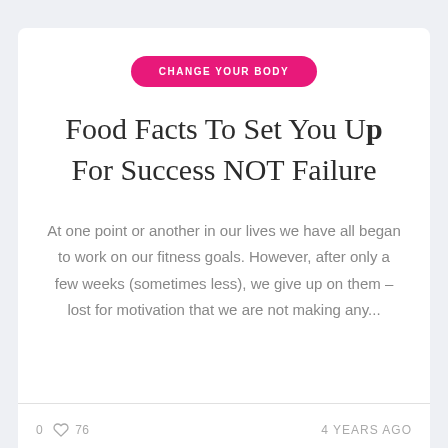CHANGE YOUR BODY
Food Facts To Set You Up For Success NOT Failure
At one point or another in our lives we have all began to work on our fitness goals. However, after only a few weeks (sometimes less), we give up on them – lost for motivation that we are not making any...
0  76  4 YEARS AGO